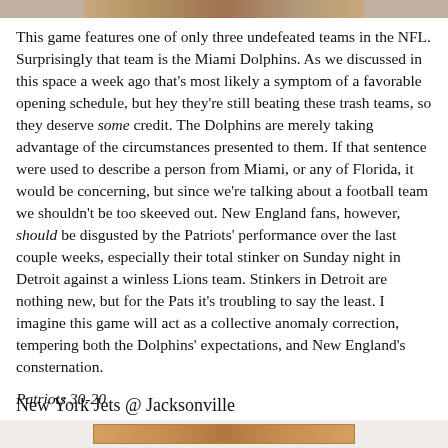[Figure (photo): Partial image strip at top of page showing sports/football related imagery]
This game features one of only three undefeated teams in the NFL. Surprisingly that team is the Miami Dolphins. As we discussed in this space a week ago that's most likely a symptom of a favorable opening schedule, but hey they're still beating these trash teams, so they deserve some credit. The Dolphins are merely taking advantage of the circumstances presented to them. If that sentence were used to describe a person from Miami, or any of Florida, it would be concerning, but since we're talking about a football team we shouldn't be too skeeved out. New England fans, however, should be disgusted by the Patriots' performance over the last couple weeks, especially their total stinker on Sunday night in Detroit against a winless Lions team. Stinkers in Detroit are nothing new, but for the Pats it's troubling to say the least. I imagine this game will act as a collective anomaly correction, tempering both the Dolphins' expectations, and New England's consternation.
Patriots 30-20
New York Jets @ Jacksonville
[Figure (photo): Partial image strip at bottom of page showing sports/football related imagery]